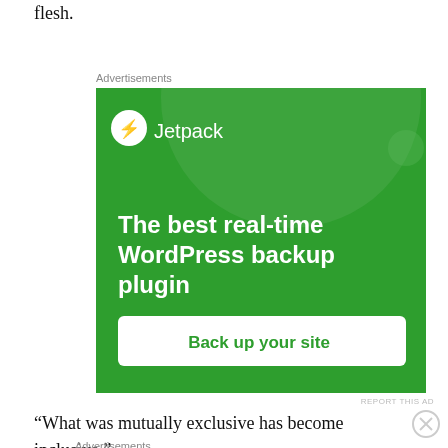flesh.
Advertisements
[Figure (screenshot): Jetpack advertisement banner: green background with circle decoration, Jetpack logo, headline 'The best real-time WordPress backup plugin', and a 'Back up your site' call-to-action button]
REPORT THIS AD
“What was mutually exclusive has become inclusive.”
Advertisements
[Figure (screenshot): DuckDuckGo advertisement banner: orange section with text 'Search, browse, and email with more privacy. All in One Free App' and dark section with DuckDuckGo logo]